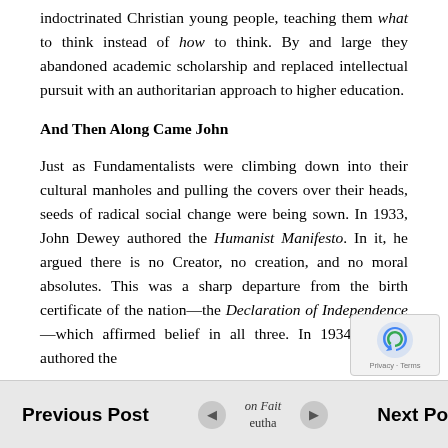indoctrinated Christian young people, teaching them what to think instead of how to think. By and large they abandoned academic scholarship and replaced intellectual pursuit with an authoritarian approach to higher education.
And Then Along Came John
Just as Fundamentalists were climbing down into their cultural manholes and pulling the covers over their heads, seeds of radical social change were being sown. In 1933, John Dewey authored the Humanist Manifesto. In it, he argued there is no Creator, no creation, and no moral absolutes. This was a sharp departure from the birth certificate of the nation—the Declaration of Independence—which affirmed belief in all three. In 1934, Dewey authored the
Previous Post | on Faith, eutha | Next Post